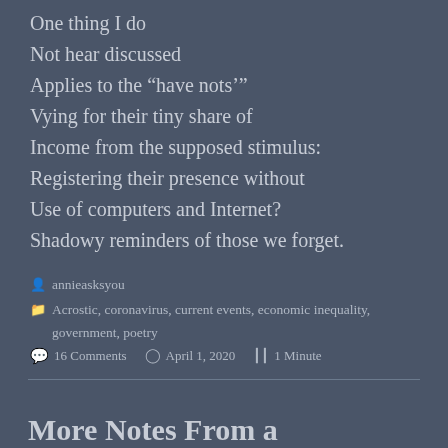One thing I do
Not hear discussed
Applies to the “have nots’”
Vying for their tiny share of
Income from the supposed stimulus:
Registering their presence without
Use of computers and Internet?
Shadowy reminders of those we forget.
annieasksyou
Acrostic, coronavirus, current events, economic inequality, government, poetry
16 Comments   April 1, 2020   1 Minute
More Notes From a